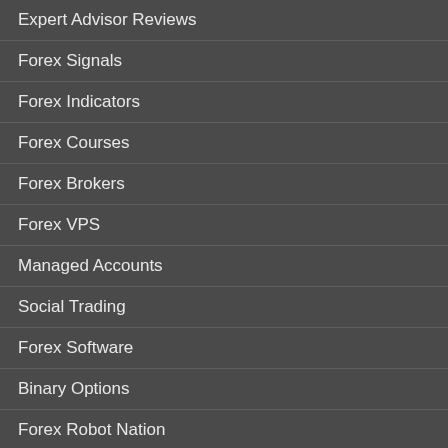Expert Advisor Reviews
Forex Signals
Forex Indicators
Forex Courses
Forex Brokers
Forex VPS
Managed Accounts
Social Trading
Forex Software
Binary Options
Forex Robot Nation
VIP ROBOT ACCESS
Sign up to our newsletter for free robots, ea's and trading secrets.